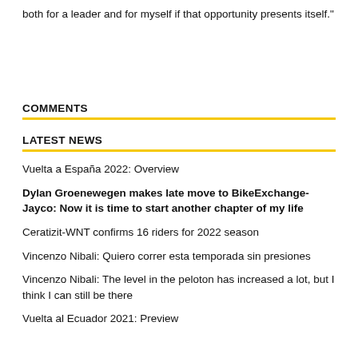both for a leader and for myself if that opportunity presents itself."
COMMENTS
LATEST NEWS
Vuelta a España 2022: Overview
Dylan Groenewegen makes late move to BikeExchange-Jayco: Now it is time to start another chapter of my life
Ceratizit-WNT confirms 16 riders for 2022 season
Vincenzo Nibali: Quiero correr esta temporada sin presiones
Vincenzo Nibali: The level in the peloton has increased a lot, but I think I can still be there
Vuelta al Ecuador 2021: Preview